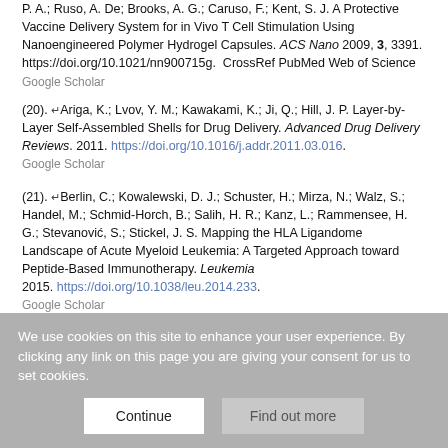P. A.; Ruso, A. De; Brooks, A. G.; Caruso, F.; Kent, S. J. A Protective Vaccine Delivery System for in Vivo T Cell Stimulation Using Nanoengineered Polymer Hydrogel Capsules. ACS Nano 2009, 3, 3391. https://doi.org/10.1021/nn900715g. CrossRef PubMed Web of Science Google Scholar
(20). Ariga, K.; Lvov, Y. M.; Kawakami, K.; Ji, Q.; Hill, J. P. Layer-by-Layer Self-Assembled Shells for Drug Delivery. Advanced Drug Delivery Reviews. 2011. https://doi.org/10.1016/j.addr.2011.03.016. Google Scholar
(21). Berlin, C.; Kowalewski, D. J.; Schuster, H.; Mirza, N.; Walz, S.; Handel, M.; Schmid-Horch, B.; Salih, H. R.; Kanz, L.; Rammensee, H. G.; Stevanovic, S.; Stickel, J. S. Mapping the HLA Ligandome Landscape of Acute Myeloid Leukemia: A Targeted Approach toward Peptide-Based Immunotherapy. Leukemia 2015. https://doi.org/10.1038/leu.2014.233. Google Scholar
We use cookies on this site to enhance your user experience. By clicking any link on this page you are giving your consent for us to set cookies.